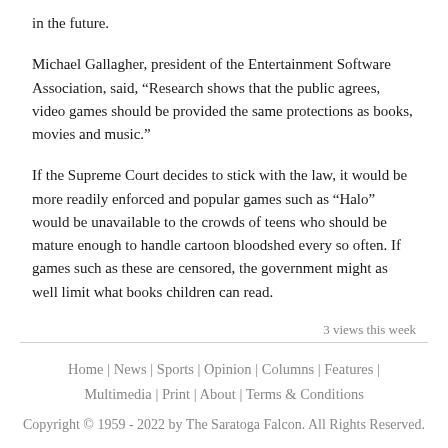in the future.
Michael Gallagher, president of the Entertainment Software Association, said, “Research shows that the public agrees, video games should be provided the same protections as books, movies and music.”
If the Supreme Court decides to stick with the law, it would be more readily enforced and popular games such as “Halo” would be unavailable to the crowds of teens who should be mature enough to handle cartoon bloodshed every so often. If games such as these are censored, the government might as well limit what books children can read.
3 views this week
Home | News | Sports | Opinion | Columns | Features | Multimedia | Print | About | Terms & Conditions
Copyright © 1959 - 2022 by The Saratoga Falcon. All Rights Reserved.